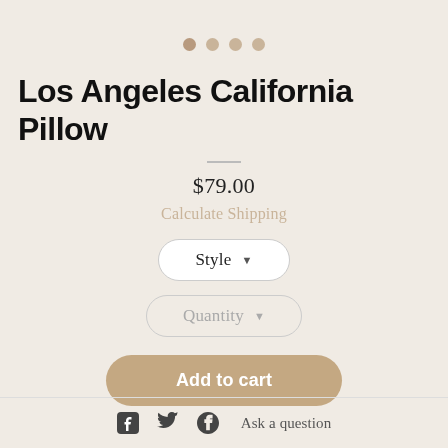[Figure (other): Four navigation dots (image carousel indicators) in muted tan/beige colors]
Los Angeles California Pillow
$79.00
Calculate Shipping
[Figure (other): Style dropdown selector button with white pill-shaped background and dropdown arrow]
[Figure (other): Quantity dropdown selector button with pill-shaped background and dropdown arrow in light gray]
[Figure (other): Add to cart button with tan/brown rounded pill shape]
Ask a question